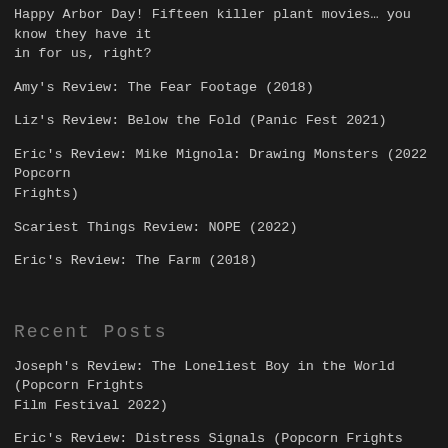Happy Arbor Day! Fifteen killer plant movies… you know they have it in for us, right?
Amy's Review: The Fear Footage (2018)
Liz's Review: Below the Fold (Panic Fest 2021)
Eric's Review: Mike Mignola: Drawing Monsters (2022 Popcorn Frights)
Scariest Things Review: NOPE (2022)
Eric's Review: The Farm (2018)
Recent Posts
Joseph's Review: The Loneliest Boy in the World (Popcorn Frights Film Festival 2022)
Eric's Review: Distress Signals (Popcorn Frights Film Festival 2022)
Robert's Review: Living With Chucky (2022 Popcorn Frights Film Festival)
Fantastic Fest 2022 Preview!
Eric's Review: Mike Mignola: Drawing Monsters (2022 Popcorn Frights)